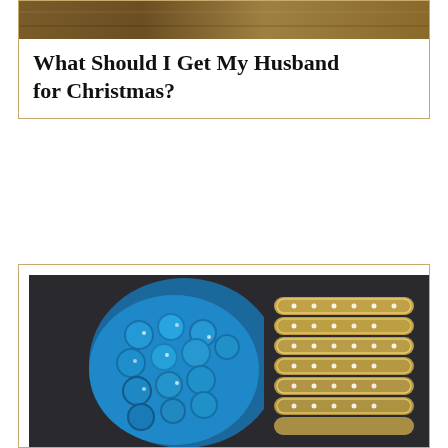[Figure (photo): Cropped top portion of a decorative image, warm brown/gold tones]
What Should I Get My Husband for Christmas?
[Figure (photo): Photo of jewelry casting: blue beaded chain-mail style bracelet on left and gold diamond-encrusted stacked rings on right, against dark background]
Casting of jewelry